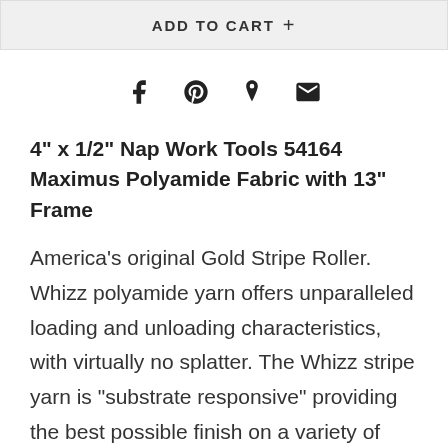ADD TO CART +
[Figure (other): Social sharing icons: Facebook, Pinterest, Fancy/bookmark, Email]
4" x 1/2" Nap Work Tools 54164 Maximus Polyamide Fabric with 13" Frame
America's original Gold Stripe Roller. Whizz polyamide yarn offers unparalleled loading and unloading characteristics, with virtually no splatter. The Whizz stripe yarn is "substrate responsive" providing the best possible finish on a variety of surfaces. Extremely durable and easy to clean. Best choice for flat paints, primers, stains, adhesives and sizings. Constructed with solvent and water-resistant core.Whizz® America's Original Gold